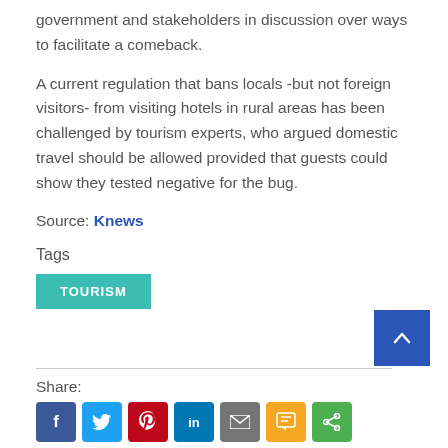government and stakeholders in discussion over ways to facilitate a comeback.
A current regulation that bans locals -but not foreign visitors- from visiting hotels in rural areas has been challenged by tourism experts, who argued domestic travel should be allowed provided that guests could show they tested negative for the bug.
Source: Knews
Tags
TOURISM
Share: